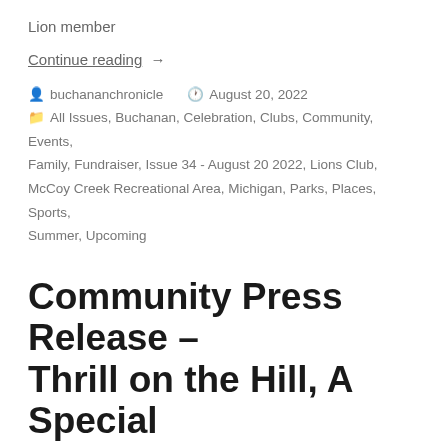Lion member
Continue reading →
buchananchronicle   August 20, 2022
All Issues, Buchanan, Celebration, Clubs, Community, Events, Family, Fundraiser, Issue 34 - August 20 2022, Lions Club, McCoy Creek Recreational Area, Michigan, Parks, Places, Sports, Summer, Upcoming
Community Press Release – Thrill on the Hill, A Special Event